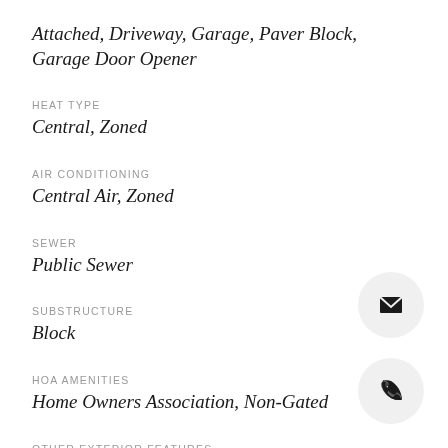Attached, Driveway, Garage, Paver Block, Garage Door Opener
HEAT TYPE
Central, Zoned
AIR CONDITIONING
Central Air, Zoned
SEWER
Public Sewer
SUBSTRUCTURE
Block
HOA AMENITIES
Home Owners Association, Non-Gated
OTHER EXTERIOR FEATURES